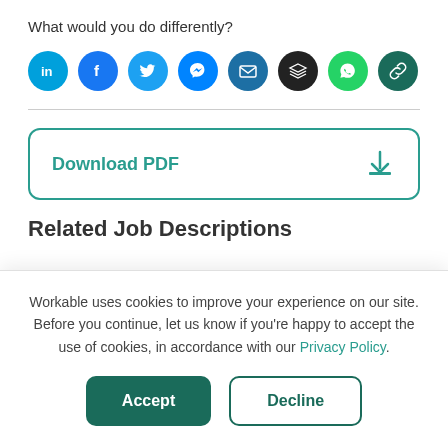What would you do differently?
[Figure (infographic): Row of social sharing icon circles: LinkedIn (teal), Facebook (blue), Twitter (blue), Messenger (blue), Email (blue), Buffer/layers (black), WhatsApp (green), Copy link (dark teal)]
Download PDF
Related Job Descriptions
Workable uses cookies to improve your experience on our site. Before you continue, let us know if you're happy to accept the use of cookies, in accordance with our Privacy Policy.
Accept
Decline